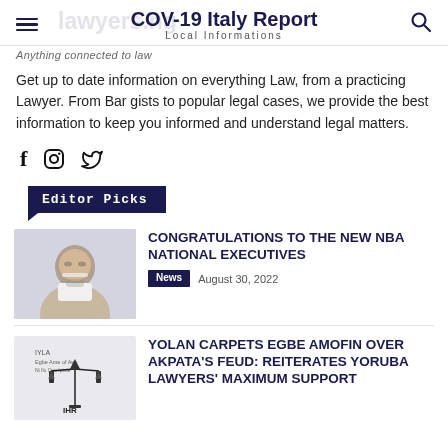COV-19 Italy Report — Local Informations
lawyers.ng — Anything connected to law
Get up to date information on everything Law, from a practicing Lawyer. From Bar gists to popular legal cases, we provide the best information to keep you informed and understand legal matters.
[Figure (other): Social media icons: Facebook (f), Instagram, Twitter]
Editor Picks
[Figure (photo): Headshot of a man with glasses in a white shirt and suspenders, hand on chin]
CONGRATULATIONS TO THE NEW NBA NATIONAL EXECUTIVES
News  August 30, 2022
[Figure (logo): Logo with scales of justice and IHR text]
YOLAN CARPETS EGBE AMOFIN OVER AKPATA'S FEUD: REITERATES YORUBA LAWYERS' MAXIMUM SUPPORT